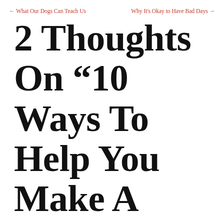← What Our Dogs Can Teach Us    Why It's Okay to Have Bad Days →
2 Thoughts On “10 Ways To Help You Make A Difficult